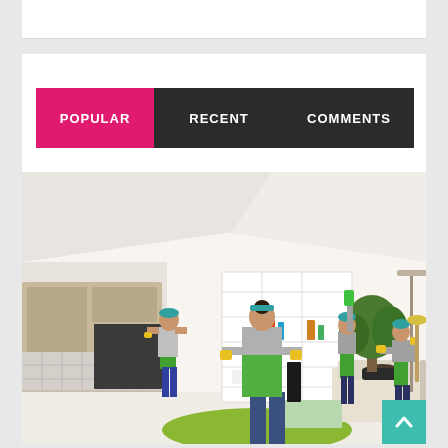[Figure (screenshot): Website UI screenshot showing a tab navigation bar with three tabs: POPULAR (active, pink/magenta background), RECENT, and COMMENTS (both on dark background). Below the tabs is a photograph of a cleaning team working in a bright modern living room/kitchen space. Workers in green aprons and yellow gloves are cleaning various areas. A teal scroll-to-top arrow button appears in the bottom right corner.]